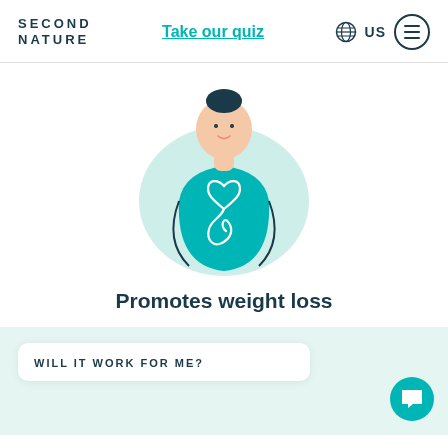SECOND NATURE | Take our quiz | US
[Figure (illustration): Illustration of a person wearing a teal top with a heart-shaped digestive tract drawn on their torso, with a light teal blob shape behind them]
Promotes weight loss
WILL IT WORK FOR ME?